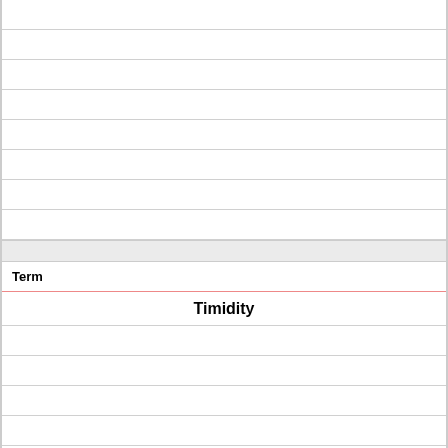Term
Timidity
Definition
the state of being easily frightened